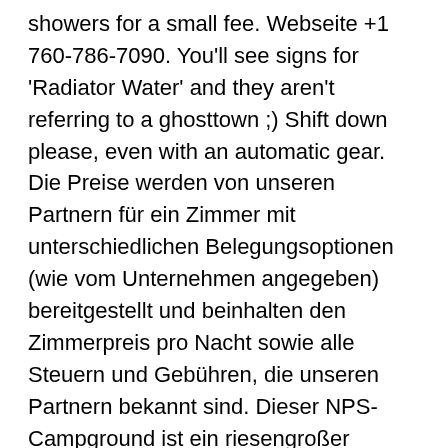showers for a small fee. Webseite +1 760-786-7090. You'll see signs for 'Radiator Water' and they aren't referring to a ghosttown ;) Shift down please, even with an automatic gear. Die Preise werden von unseren Partnern für ein Zimmer mit unterschiedlichen Belegungsoptionen (wie vom Unternehmen angegeben) bereitgestellt und beinhalten den Zimmerpreis pro Nacht sowie alle Steuern und Gebühren, die unseren Partnern bekannt sind. Dieser NPS-Campground ist ein riesengroßer Parkplatz mit 200 Stellplätzen nördlich der CA-SR-190. The store is mostly touristy (T-shirts, mugs, etc), but it does have a reasonable selection of the basics like milk, bread, etc. CG-Typ: Privat. Late October - Late April Sites. No frills site but great amenities - Brooksie Furnace Creek Dump Station. Open. You can experience a complete contrast to the desolate desert landscape in an oasis that holds an 18-hole golf